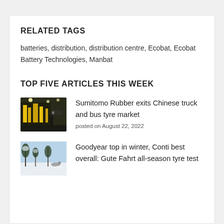RELATED TAGS
batteries, distribution, distribution centre, Ecobat, Ecobat Battery Technologies, Manbat
TOP FIVE ARTICLES THIS WEEK
[Figure (photo): Industrial warehouse or factory floor with yellow equipment and a person in the background]
Sumitomo Rubber exits Chinese truck and bus tyre market
posted on August 22, 2022
[Figure (photo): Winter landscape with snow-covered ground and trees, possibly an animal in the scene]
Goodyear top in winter, Conti best overall: Gute Fahrt all-season tyre test